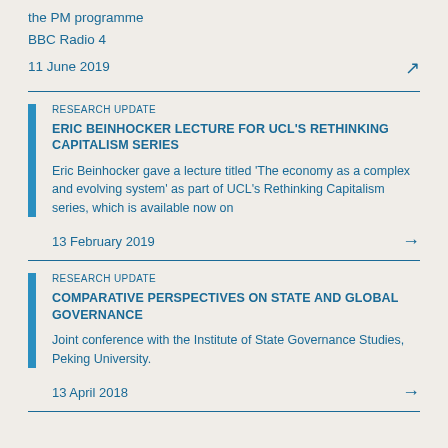the PM programme
BBC Radio 4
11 June 2019
RESEARCH UPDATE
ERIC BEINHOCKER LECTURE FOR UCL'S RETHINKING CAPITALISM SERIES
Eric Beinhocker gave a lecture titled 'The economy as a complex and evolving system' as part of UCL's Rethinking Capitalism series, which is available now on
13 February 2019
RESEARCH UPDATE
COMPARATIVE PERSPECTIVES ON STATE AND GLOBAL GOVERNANCE
Joint conference with the Institute of State Governance Studies, Peking University.
13 April 2018